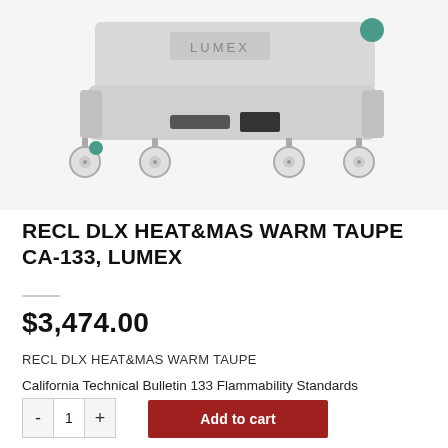[Figure (photo): Product photo of a Lumex medical recliner/chair with casters on a light gray background, showing the base and wheels of the unit with the LUMEX brand label visible on top.]
RECL DLX HEAT&MAS WARM TAUPE CA-133, LUMEX
$3,474.00
RECL DLX HEAT&MAS WARM TAUPE
California Technical Bulletin 133 Flammability Standards
- 1 +
Add to cart